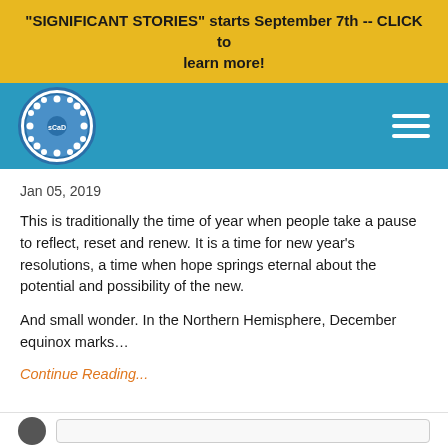"SIGNIFICANT STORIES" starts September 7th -- CLICK to learn more!
[Figure (logo): Circular logo with white dots on blue background, center initials]
Jan 05, 2019
This is traditionally the time of year when people take a pause to reflect, reset and renew. It is a time for new year's resolutions, a time when hope springs eternal about the potential and possibility of the new.
And small wonder. In the Northern Hemisphere, December equinox marks…
Continue Reading...